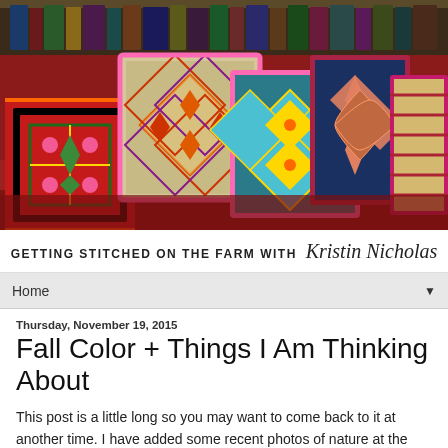[Figure (photo): Photo of colorful embroidered/needlepoint decorative pillows arranged on a red surface with bookshelves in the background. Pillows feature geometric and floral patterns in bright colors including red, green, blue, teal, pink, and gold.]
GETTING STITCHED ON THE FARM WITH Kristin Nicholas
Home ▼
Thursday, November 19, 2015
Fall Color + Things I Am Thinking About
This post is a little long so you may want to come back to it at another time. I have added some recent photos of nature at the end of the post that were taken in our pastures a few